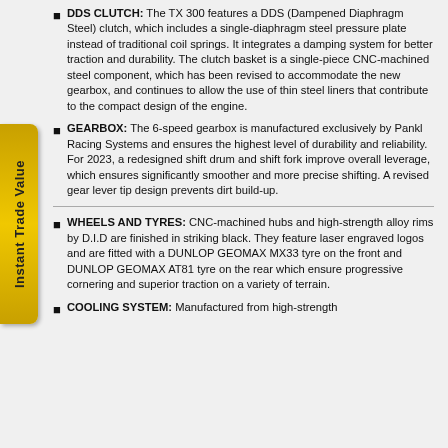DDS CLUTCH: The TX 300 features a DDS (Dampened Diaphragm Steel) clutch, which includes a single-diaphragm steel pressure plate instead of traditional coil springs. It integrates a damping system for better traction and durability. The clutch basket is a single-piece CNC-machined steel component, which has been revised to accommodate the new gearbox, and continues to allow the use of thin steel liners that contribute to the compact design of the engine.
GEARBOX: The 6-speed gearbox is manufactured exclusively by Pankl Racing Systems and ensures the highest level of durability and reliability. For 2023, a redesigned shift drum and shift fork improve overall leverage, which ensures significantly smoother and more precise shifting. A revised gear lever tip design prevents dirt build-up.
WHEELS AND TYRES: CNC-machined hubs and high-strength alloy rims by D.I.D are finished in striking black. They feature laser engraved logos and are fitted with a DUNLOP GEOMAX MX33 tyre on the front and DUNLOP GEOMAX AT81 tyre on the rear which ensure progressive cornering and superior traction on a variety of terrain.
COOLING SYSTEM: Manufactured from high-strength